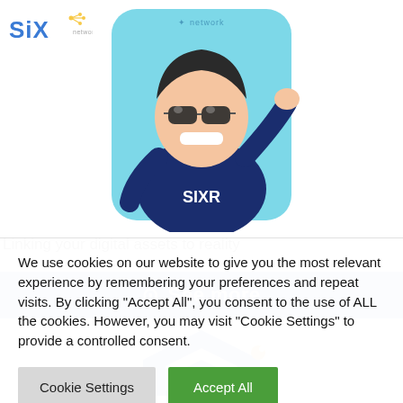[Figure (logo): SIX Network logo in blue with star/network icon]
[Figure (illustration): Cartoon mascot character wearing sunglasses and navy SIXR sweater, saluting, on light blue background with 'network' text]
Linking your digital assets to reality
[Figure (other): Blue See more button with eye icon]
[Figure (logo): Blue pentagon/hexagon shaped logo icon with puzzle piece cutout, partially visible]
We use cookies on our website to give you the most relevant experience by remembering your preferences and repeat visits. By clicking "Accept All", you consent to the use of ALL the cookies. However, you may visit "Cookie Settings" to provide a controlled consent.
Cookie Settings
Accept All